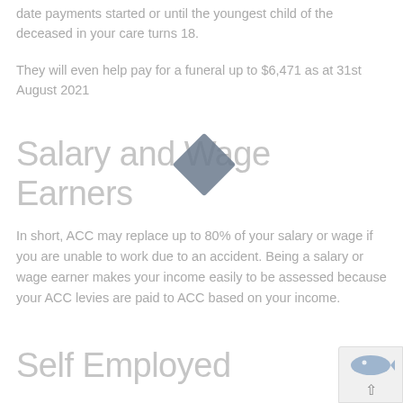date payments started or until the youngest child of the deceased in your care turns 18.
They will even help pay for a funeral up to $6,471 as at 31st August 2021
Salary and Wage Earners
In short, ACC may replace up to 80% of your salary or wage if you are unable to work due to an accident. Being a salary or wage earner makes your income easily to be assessed because your ACC levies are paid to ACC based on your income.
Self Employed
Being self employed can be a bit of a mine field around